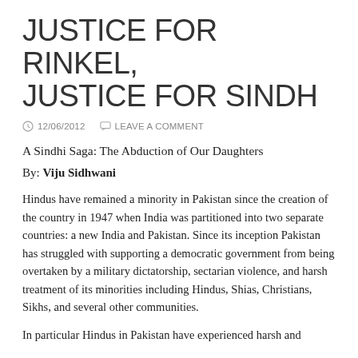JUSTICE FOR RINKEL, JUSTICE FOR SINDH
12/06/2012   LEAVE A COMMENT
A Sindhi Saga: The Abduction of Our Daughters
By: Viju Sidhwani
Hindus have remained a minority in Pakistan since the creation of the country in 1947 when India was partitioned into two separate countries: a new India and Pakistan. Since its inception Pakistan has struggled with supporting a democratic government from being overtaken by a military dictatorship, sectarian violence, and harsh treatment of its minorities including Hindus, Shias, Christians, Sikhs, and several other communities.
In particular Hindus in Pakistan have experienced harsh and